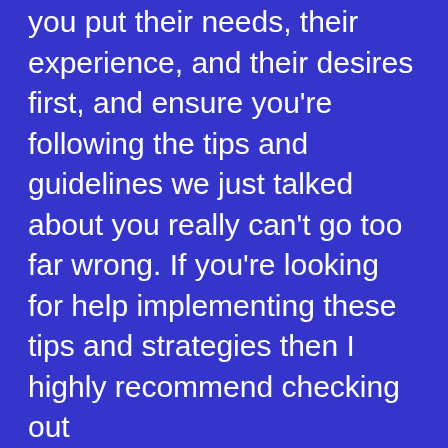you put their needs, their experience, and their desires first, and ensure you're following the tips and guidelines we just talked about you really can't go too far wrong. If you're looking for help implementing these tips and strategies then I highly recommend checking out sirenconsultingfirm.com/web who specialize in everything we just talked about.
► Download your free copy of The One Page Marketing Plan Here –
#LINKS
Website:
Twitter: